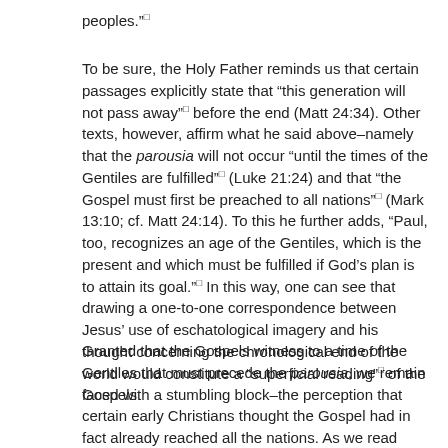peoples.”□
To be sure, the Holy Father reminds us that certain passages explicitly state that “this generation will not pass away”□ before the end (Matt 24:34). Other texts, however, affirm what he said above–namely that the parousia will not occur “until the times of the Gentiles are fulfilled”□ (Luke 21:24) and that “the Gospel must first be preached to all nations”□ (Mark 13:10; cf. Matt 24:14). To this he further adds, “Paul, too, recognizes an age of the Gentiles, which is the present and which must be fulfilled if God’s plan is to attain its goal.”□ In this way, one can see that drawing a one-to-one correspondence between Jesus’ use of eschatological imagery and his thought concerning the chronological end of the world would constitute a “superficial reading”□ of the Gospels.
Granted that the Gospels witness to a time of the Gentiles that must precede the parousia, we remain faced with a stumbling block–the perception that certain early Christians thought the Gospel had in fact already reached all the nations. As we read from Benedict’s Eschatology in a previous post, “Even in his own age, Paul believed that he had in fact offered the Gospel to the